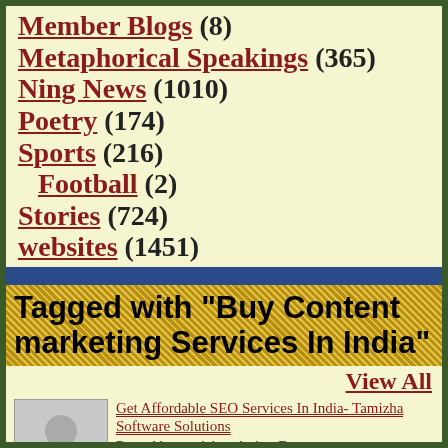Member Blogs (8)
Metaphorical Speakings (365)
Ning News (1010)
Poetry (174)
Sports (216)
Football (2)
Stories (724)
websites (1451)
Tagged with "Buy Content marketing Services In India"
View All
Get Affordable SEO Services In India- Tamizha Software Solutions
Posted by tamizhasolution Dec